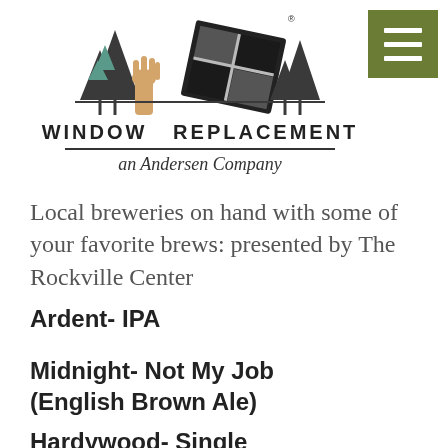[Figure (logo): Window Replacement an Andersen Company logo with window graphic illustration, bold text 'WINDOW REPLACEMENT' and italic 'an Andersen Company' below a horizontal rule]
[Figure (other): Green square hamburger/menu button with three white horizontal bars]
Local breweries on hand with some of your favorite brews: presented by The Rockville Center
Ardent- IPA
Midnight- Not My Job (English Brown Ale)
Hardywood- Single